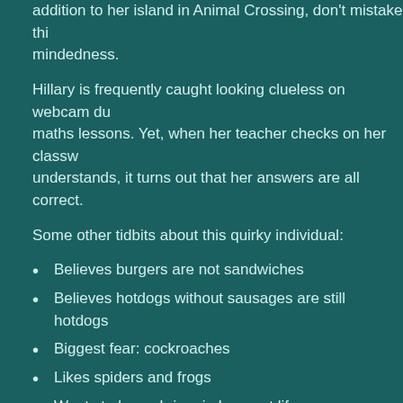addition to her island in Animal Crossing, don't mistake this mindedness.
Hillary is frequently caught looking clueless on webcam du maths lessons. Yet, when her teacher checks on her classw understands, it turns out that her answers are all correct.
Some other tidbits about this quirky individual:
Believes burgers are not sandwiches
Believes hotdogs without sausages are still hotdogs
Biggest fear: cockroaches
Likes spiders and frogs
Wants to be a shrimp in her next life
We've seen Hillary blossom from a timid, quiet student into outspoken member of the MG family. We hope she develo artistic talent over the next few years and realizes her drea animator.